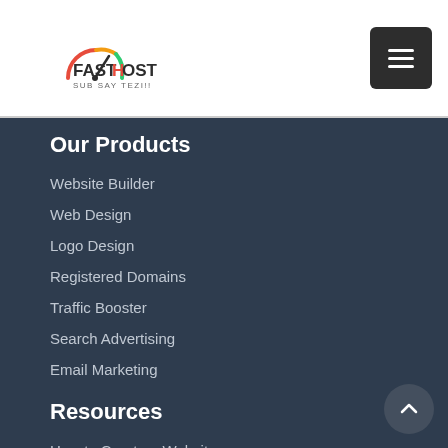[Figure (logo): FastHost logo with speedometer graphic and tagline 'SUB SAY TEZI!!']
Our Products
Website Builder
Web Design
Logo Design
Registered Domains
Traffic Booster
Search Advertising
Email Marketing
Resources
How to Create a Website
How to Transfer a Website